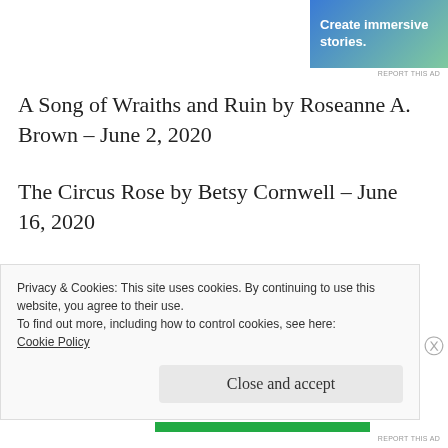[Figure (screenshot): WordPress ad banner showing 'Create immersive stories.' with GET THE APP text and WordPress logo]
A Song of Wraiths and Ruin by Roseanne A. Brown – June 2, 2020
The Circus Rose by Betsy Cornwell – June 16, 2020
The Kinder Poison by Natalie Mae – June 16, 2020
Privacy & Cookies: This site uses cookies. By continuing to use this website, you agree to their use.
To find out more, including how to control cookies, see here:
Cookie Policy
Close and accept